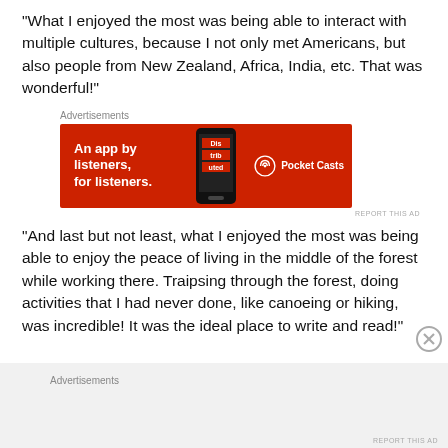“What I enjoyed the most was being able to interact with multiple cultures, because I not only met Americans, but also people from New Zealand, Africa, India, etc. That was wonderful!”
[Figure (screenshot): Red advertisement banner for Pocket Casts app. Text reads 'An app by listeners, for listeners.' with Pocket Casts logo on the right and a phone image in the center.]
“And last but not least, what I enjoyed the most was being able to enjoy the peace of living in the middle of the forest while working there. Traipsing through the forest, doing activities that I had never done, like canoeing or hiking, was incredible! It was the ideal place to write and read!”